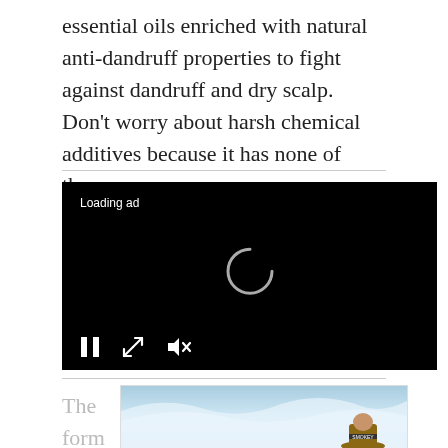essential oils enriched with natural anti-dandruff properties to fight against dandruff and dry scalp. Don't worry about harsh chemical additives because it has none of them.
[Figure (screenshot): Video player with black background showing 'Loading ad' text in top-left, a circular loading spinner in the center, and playback controls (pause button, fullscreen button, mute button) at the bottom-left.]
The formula contains...
[Figure (photo): Partially visible advertisement image showing a sky/clouds background with a figure wearing a hat (appears to be Smokey Bear) at the bottom right.]